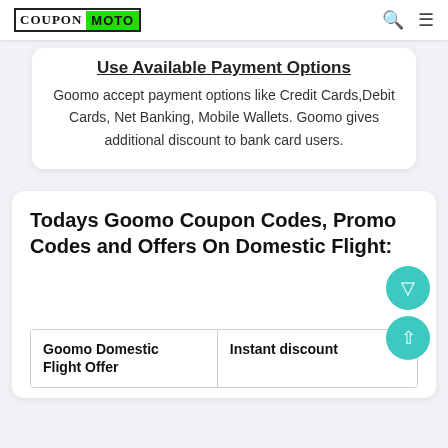COUPON MOTO
Use Available Payment Options
Goomo accept payment options like Credit Cards,Debit Cards, Net Banking, Mobile Wallets. Goomo gives additional discount to bank card users.
Todays Goomo Coupon Codes, Promo Codes and Offers On Domestic Flight:
| Goomo Domestic Flight Offer | Instant discount |
| --- | --- |